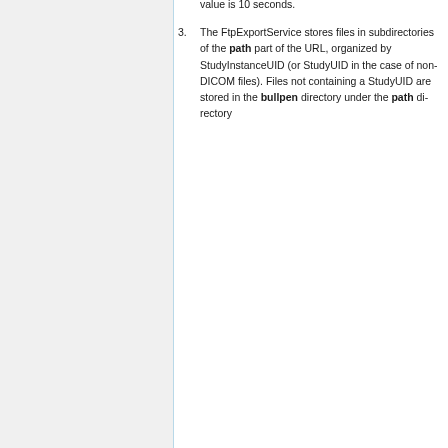the object must pass the script test. If the script attribute is not supplied, the test returns true by default and the object is accepted. See The CTP DICOM Filter and The CTP XML and Zip Filters for information about the script languages.
The default interval is 5 seconds. The minimum allowed value is one second. The maximum allowed value is 10 seconds.
The FtpExportService stores files in subdirectories of the path part of the URL, organized by StudyInstanceUID (or StudyUID in the case of non-DICOM files). Files not containing a StudyUID are stored in the bullpen directory under the path directory.